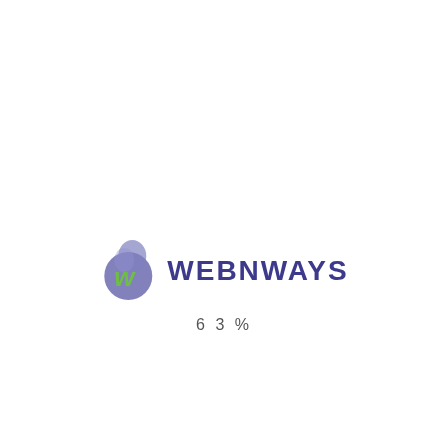[Figure (logo): Webnways logo: a purple/blue teardrop-shaped icon with a green stylized W letter inside, followed by the text WEBNWAYS in bold dark purple/navy letters]
63%